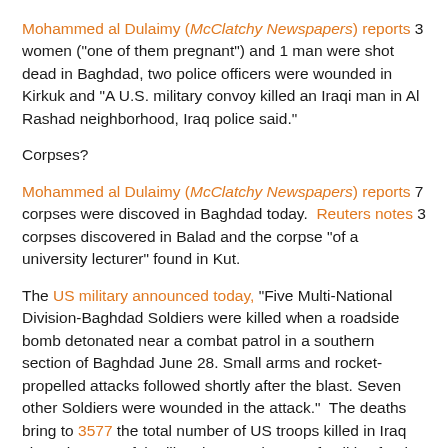Mohammed al Dulaimy (McClatchy Newspapers) reports 3 women ("one of them pregnant") and 1 man were shot dead in Baghdad, two police officers were wounded in Kirkuk and "A U.S. military convoy killed an Iraqi man in Al Rashad neighborhood, Iraq police said."
Corpses?
Mohammed al Dulaimy (McClatchy Newspapers) reports 7 corpses were discoved in Baghdad today.  Reuters notes 3 corpses discovered in Balad and the corpse "of a university lecturer" found in Kut.
The US military announced today, "Five Multi-National Division-Baghdad Soldiers were killed when a roadside bomb detonated near a combat patrol in a southern section of Baghdad June 28. Small arms and rocket-propelled attacks followed shortly after the blast. Seven other Soldiers were wounded in the attack."  The deaths bring to 3577 the total number of US troops killed in Iraq since the start of the illegal war and to 100 fatalities for the month of June. June is